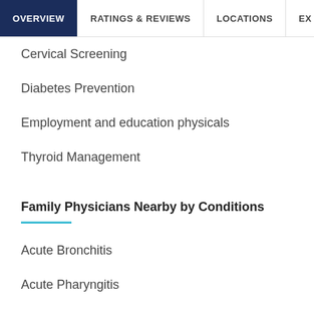OVERVIEW | RATINGS & REVIEWS | LOCATIONS | EX
Cervical Screening
Diabetes Prevention
Employment and education physicals
Thyroid Management
Family Physicians Nearby by Conditions
Acute Bronchitis
Acute Pharyngitis
Acute Upper Respiratory Tract Infections
Gastroesophageal Reflux Disease (GERD)
Hypertension (HTN)